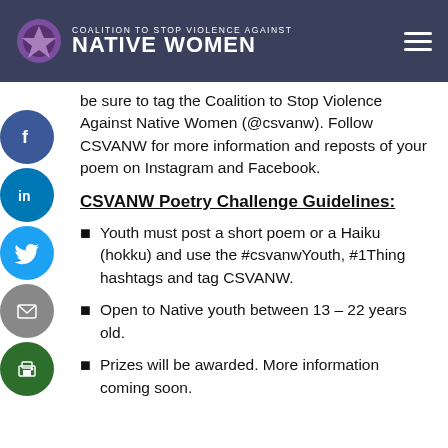COALITION to STOP VIOLENCE AGAINST NATIVE WOMEN
be sure to tag the Coalition to Stop Violence Against Native Women (@csvanw). Follow CSVANW for more information and reposts of your poem on Instagram and Facebook.
CSVANW Poetry Challenge Guidelines:
Youth must post a short poem or a Haiku (hokku) and use the #csvanwYouth, #1Thing hashtags and tag CSVANW.
Open to Native youth between 13 – 22 years old.
Prizes will be awarded. More information coming soon.